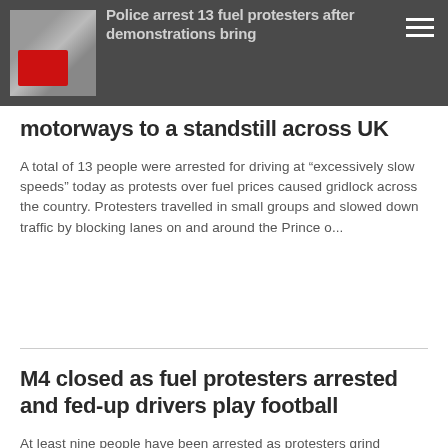[Figure (photo): Thumbnail image of a protest scene with red object visible, shown in a dark grey top navigation bar with hamburger menu icon on the right]
Police arrest 13 fuel protesters after demonstrations bring motorways to a standstill across UK
A total of 13 people were arrested for driving at “excessively slow speeds” today as protests over fuel prices caused gridlock across the country. Protesters travelled in small groups and slowed down traffic by blocking lanes on and around the Prince o...
M4 closed as fuel protesters arrested and fed-up drivers play football
At least nine people have been arrested as protesters grind motorways to a halt in a “go-slow” campaign